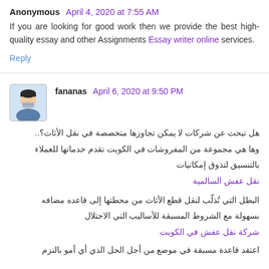Anonymous  April 4, 2020 at 7:55 AM
If you are looking for good work then we provide the best high-quality essay and other Assignments Essay writer online services.
Reply
fananas  April 6, 2020 at 9:50 PM
هل تبحث عن شركات لا يمكن تجاوزها متخصصة في نقل الأثاث؟.. وها هي مجموعة من المفروشات في الكويت تقدم خدماتها للعملاء بالتنسيق لتذوق إمكانيات
نقل عفش السالمية
البطل التي تُذلّب لنقل قطع الأثاث من محطتها إلى قاعده مضافه بسهولة مع الشروط المسبقة للأساليب التي الاحتلال
شركة نقل عفش في الكويت
اعتقد قاعدة مسبقة في موضع من أجل الحل الذي أي أمو بالنزم